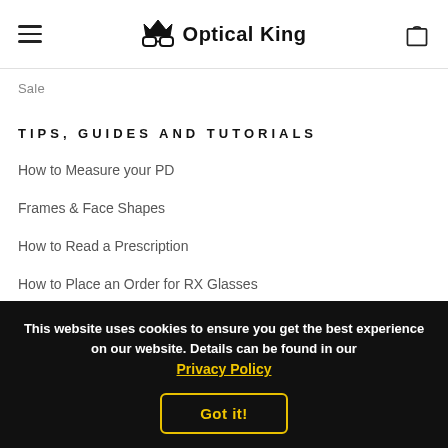Optical King
Sale
TIPS, GUIDES AND TUTORIALS
How to Measure your PD
Frames & Face Shapes
How to Read a Prescription
How to Place an Order for RX Glasses
This website uses cookies to ensure you get the best experience on our website. Details can be found in our Privacy Policy
Got it!